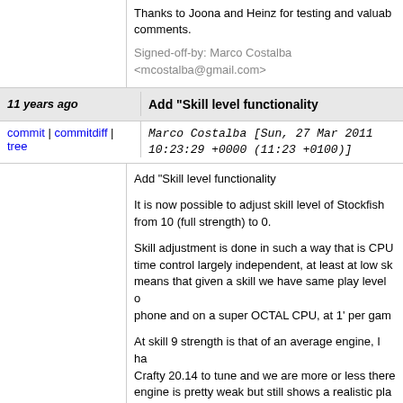Thanks to Joona and Heinz for testing and valuable comments.
Signed-off-by: Marco Costalba <mcostalba@gmail.com>
11 years ago   Add "Skill level functionality
commit | commitdiff | tree   Marco Costalba [Sun, 27 Mar 2011 10:23:29 +0000 (11:23 +0100)]
Add "Skill level functionality
It is now possible to adjust skill level of Stockfish from 10 (full strength) to 0.
Skill adjustment is done in such a way that is CPU time control largely independent, at least at low skill, means that given a skill we have same play level on a phone and on a super OCTAL CPU, at 1' per game.
At skill 9 strength is that of an average engine, I have used Crafty 20.14 to tune and we are more or less there, at skill 0 engine is pretty weak but still shows a realistic play style.
When skill is not used we don't have any impact on the code.
Idea to use MultiPV is from Heinz van Saanen, implementation and formulas by me.